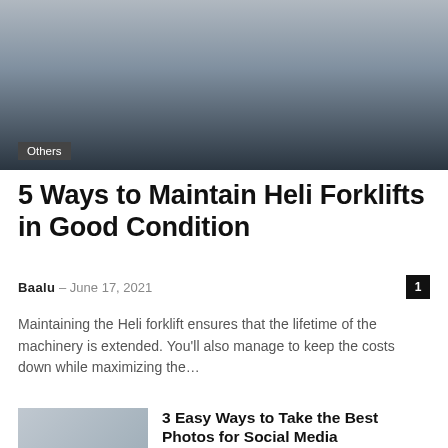[Figure (photo): Hero image showing a person in dark clothing, partially visible from the torso down, with a blurred background of parked cars and a grey pavement/road surface.]
5 Ways to Maintain Heli Forklifts in Good Condition
Baalu – June 17, 2021
Maintaining the Heli forklift ensures that the lifetime of the machinery is extended. You'll also manage to keep the costs down while maximizing the...
3 Easy Ways to Take the Best Photos for Social Media
July 10, 2022
A Manual Guide To Fix QuickBooks Error Code 6000 83
July 2, 2020